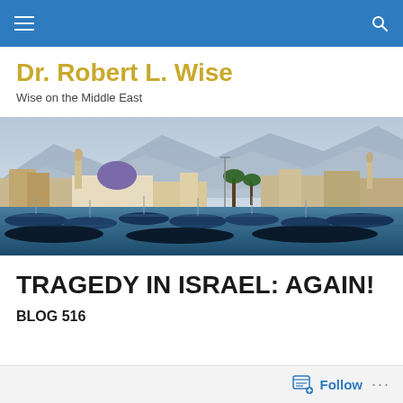Navigation bar with menu and search icons
Dr. Robert L. Wise
Wise on the Middle East
[Figure (photo): A Middle Eastern harbor scene with blue boats moored in front of white buildings including a mosque with a blue dome, mountains visible in background]
TRAGEDY IN ISRAEL: AGAIN!
BLOG 516
Follow ...